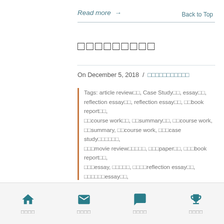Read more →
Back to Top
□□□□□□□□□
On December 5, 2018  /  □□□□□□□□□□□
Tags: article review□□, Case Study□□, essay□□, reflection essay□□, reflection essay□□, □□book report□□, □□course work□□, □□summary□□, □□course work, □□summary, □□course work, □□□case study□□□□□□, □□□movie review□□□□□, □□□paper□□, □□□book report□□, □□□essay, □□□□□, □□□□reflection essay□□, □□□□□□essay□□, □□□□book report□□, □□□□case study□□□□□, □□□□discussion□□□□, □□□□movie review□□, □□book report□□, □□essay, □□essay□□, □□reflection essay□□, □□□□□, □□book report□□, □□course work□□□□□, □□reflection essay□□,
□□□□  □□□□  □□□□  □□□□